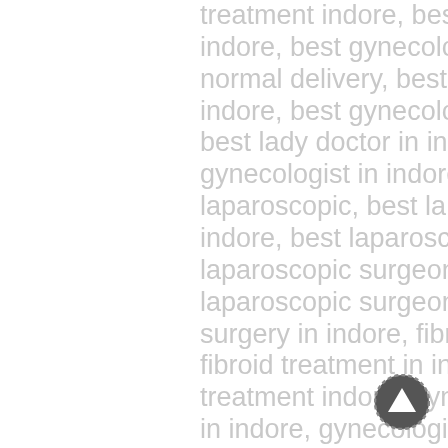treatment indore, best gynecologist in indore, best gynecologist in indore for normal delivery, best gynecologist indore, best gynecologists in indore, best lady doctor in indore, best lady gynecologist in indore, best laparoscopic, best laparoscopic in indore, best laparoscopic indore, best laparoscopic surgeon in indore, female laparoscopic surgeon in indore, fibroid surgery in indore, fibroid surgery indore, fibroid treatment in indore, fibroid treatment indore, gynecologic surgeon in indore, gynecological laparoscopic surgeon in indore, gynecologist in indore, gynecologist indore., gynecologist surgeon in indore